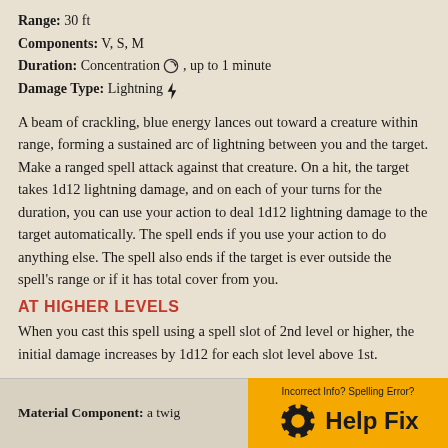Range: 30 ft
Components: V, S, M
Duration: Concentration, up to 1 minute
Damage Type: Lightning
A beam of crackling, blue energy lances out toward a creature within range, forming a sustained arc of lightning between you and the target. Make a ranged spell attack against that creature. On a hit, the target takes 1d12 lightning damage, and on each of your turns for the duration, you can use your action to deal 1d12 lightning damage to the target automatically. The spell ends if you use your action to do anything else. The spell also ends if the target is ever outside the spell's range or if it has total cover from you.
AT HIGHER LEVELS
When you cast this spell using a spell slot of 2nd level or higher, the initial damage increases by 1d12 for each slot level above 1st.
Material Component: a twig